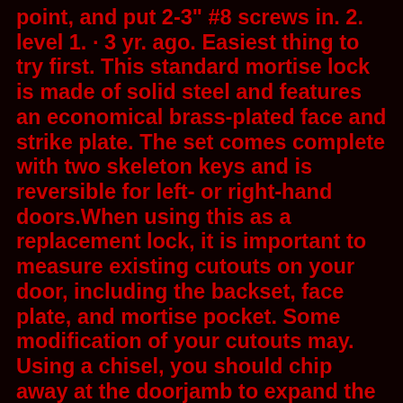point, and put 2-3" #8 screws in. 2. level 1. · 3 yr. ago. Easiest thing to try first. This standard mortise lock is made of solid steel and features an economical brass-plated face and strike plate. The set comes complete with two skeleton keys and is reversible for left- or right-hand doors.When using this as a replacement lock, it is important to measure existing cutouts on your door, including the backset, face plate, and mortise pocket. Some modification of your cutouts may. Using a chisel, you should chip away at the doorjamb to expand the recess that holds your strike plate. Once the latch strike plate is in position, you should mark and predrill new screw holes. Screw the latch strike plates in their new place. Afterward, use a wood filler to fill in the gap you left when you moved the door strike. Knowing how to cut a mortise is essential for installing a deadbolt lock. You'll need to cut a mortise — a small shallow recess in the wood of the door and doorjamb — for the latchbolt and strike plate to rest. Fortunately, cutting out this mortise isn't nearly as difficult as it sounds. All you need is a sharp 1-inch chisel,